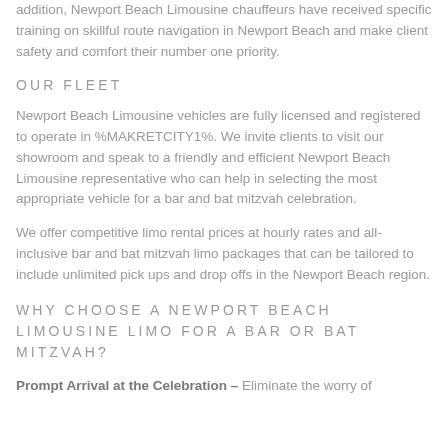addition, Newport Beach Limousine chauffeurs have received specific training on skillful route navigation in Newport Beach and make client safety and comfort their number one priority.
OUR FLEET
Newport Beach Limousine vehicles are fully licensed and registered to operate in %MAKRETCITY1%. We invite clients to visit our showroom and speak to a friendly and efficient Newport Beach Limousine representative who can help in selecting the most appropriate vehicle for a bar and bat mitzvah celebration.
We offer competitive limo rental prices at hourly rates and all-inclusive bar and bat mitzvah limo packages that can be tailored to include unlimited pick ups and drop offs in the Newport Beach region.
WHY CHOOSE A NEWPORT BEACH LIMOUSINE LIMO FOR A BAR OR BAT MITZVAH?
Prompt Arrival at the Celebration – Eliminate the worry of